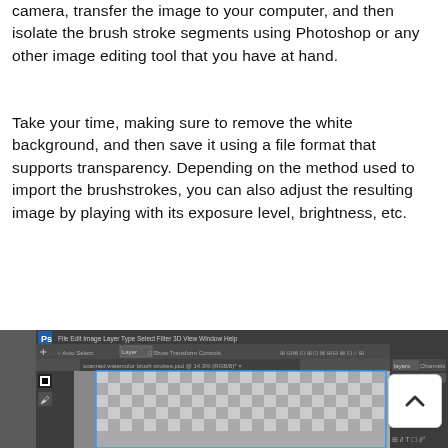camera, transfer the image to your computer, and then isolate the brush stroke segments using Photoshop or any other image editing tool that you have at hand.
Take your time, making sure to remove the white background, and then save it using a file format that supports transparency. Depending on the method used to import the brushstrokes, you can also adjust the resulting image by playing with its exposure level, brightness, etc.
[Figure (screenshot): A screenshot of Adobe Photoshop showing a scanned watercolor brush strokes file open at 14.3% zoom in RGB/8 mode, with the layers and channels panels visible on the right.]